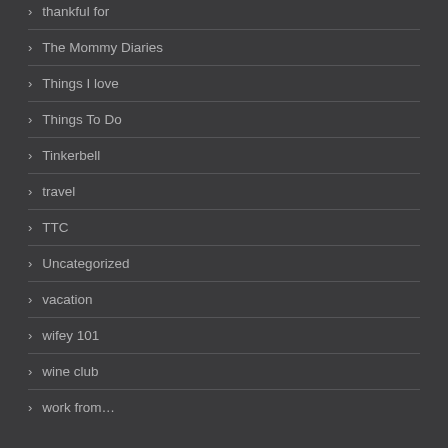thankful for
The Mommy Diaries
Things I love
Things To Do
Tinkerbell
travel
TTC
Uncategorized
vacation
wifey 101
wine club
work from…